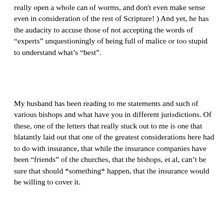really open a whole can of worms, and don't even make sense even in consideration of the rest of Scripture! ) And yet, he has the audacity to accuse those of not accepting the words of "experts" unquestioningly of being full of malice or too stupid to understand what's "best".
My husband has been reading to me statements and such of various bishops and what have you in different jurisdictions. Of these, one of the letters that really stuck out to me is one that blatantly laid out that one of the greatest considerations here had to do with insurance, that while the insurance companies have been "friends" of the churches, that the bishops, et al, can't be sure that should *something* happen, that the insurance would be willing to cover it.